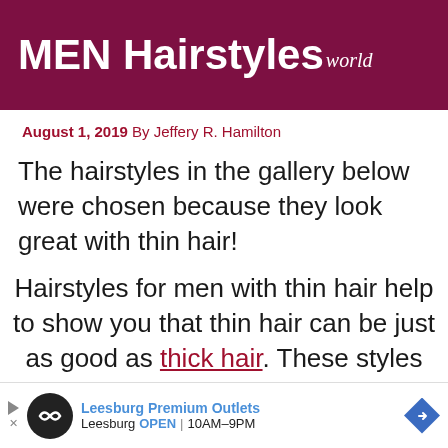MEN Hairstyles World
August 1, 2019 By Jeffery R. Hamilton
The hairstyles in the gallery below were chosen because they look great with thin hair!
Hairstyles for men with thin hair help to show you that thin hair can be just as good as thick hair. These styles allow you to use styling tricks to make your hair
[Figure (other): Advertisement banner: Leesburg Premium Outlets ad with logo circle, play button, outlet name, location, hours (Leesburg OPEN 10AM-9PM), and blue diamond arrow icon]